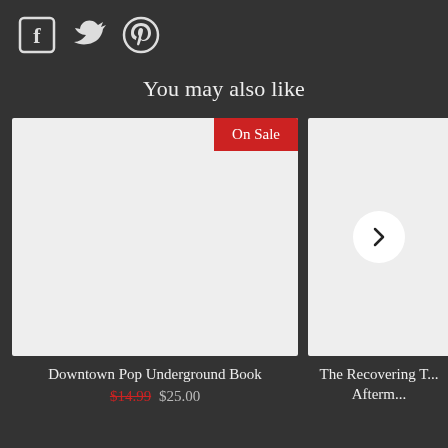[Figure (other): Social media icons: Facebook, Twitter, Pinterest in white on dark background]
You may also like
[Figure (other): Product card image placeholder (light grey rectangle) with 'On Sale' red badge in top right corner]
Downtown Pop Underground Book
$14.99 $25.00
[Figure (other): Second product card image placeholder (light grey rectangle, partially cropped) with a circular arrow navigation button]
The Recovering T... Afterm...